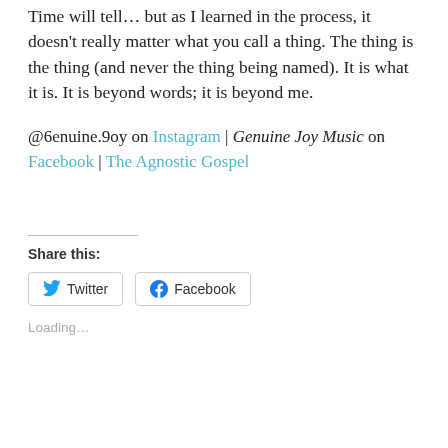Time will tell... but as I learned in the process, it doesn't really matter what you call a thing. The thing is the thing (and never the thing being named). It is what it is. It is beyond words; it is beyond me.
@6enuine.9oy on Instagram | Genuine Joy Music on Facebook | The Agnostic Gospel
Share this:
Twitter  Facebook
Loading...